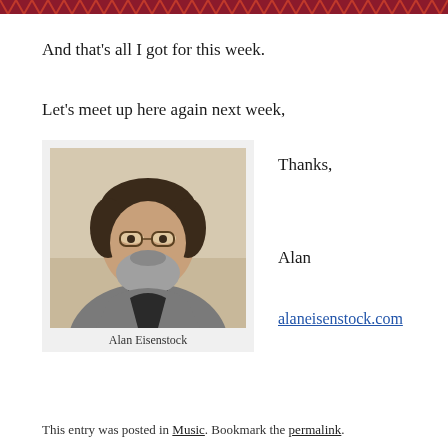[Figure (other): Decorative zigzag/chevron red border at top of page]
And that's all I got for this week.
Let's meet up here again next week,
[Figure (photo): Headshot photo of Alan Eisenstock, a middle-aged man with glasses and a grey beard wearing a grey jacket]
Alan Eisenstock
Thanks,
Alan
alaneisenstock.com
This entry was posted in Music. Bookmark the permalink.